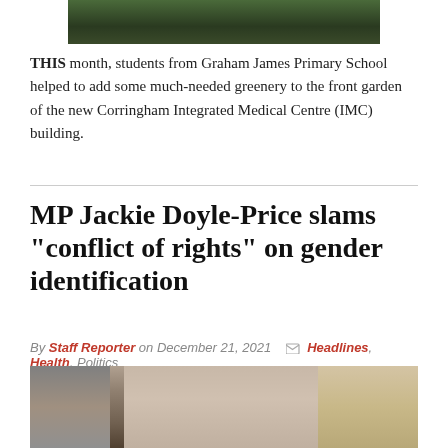[Figure (photo): Top portion of a photo showing soil/garden area from Graham James Primary School planting activity]
THIS month, students from Graham James Primary School helped to add some much-needed greenery to the front garden of the new Corringham Integrated Medical Centre (IMC) building.
MP Jackie Doyle-Price slams “conflict of rights” on gender identification
By Staff Reporter on December 21, 2021  Headlines, Health, Politics
[Figure (photo): Portrait photograph of MP Jackie Doyle-Price, a woman with short grey-blonde hair wearing a blue jacket, standing in front of an archway]